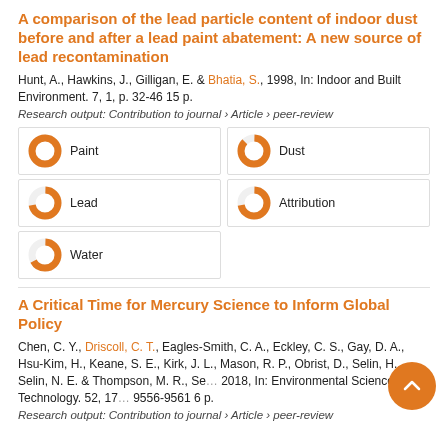A comparison of the lead particle content of indoor dust before and after a lead paint abatement: A new source of lead recontamination
Hunt, A., Hawkins, J., Gilligan, E. & Bhatia, S., 1998, In: Indoor and Built Environment. 7, 1, p. 32-46 15 p.
Research output: Contribution to journal › Article › peer-review
[Figure (infographic): Keyword badges with donut-chart percentage indicators: Paint 100%, Dust 87%, Lead 72%, Attribution 72%, Water 67%]
A Critical Time for Mercury Science to Inform Global Policy
Chen, C. Y., Driscoll, C. T., Eagles-Smith, C. A., Eckley, C. S., Gay, D. A., Hsu-Kim, H., Keane, S. E., Kirk, J. L., Mason, R. P., Obrist, D., Selin, H., Selin, N. E. & Thompson, M. R., Se... 2018, In: Environmental Science and Technology. 52, 17... 9556-9561 6 p.
Research output: Contribution to journal › Article › peer-review